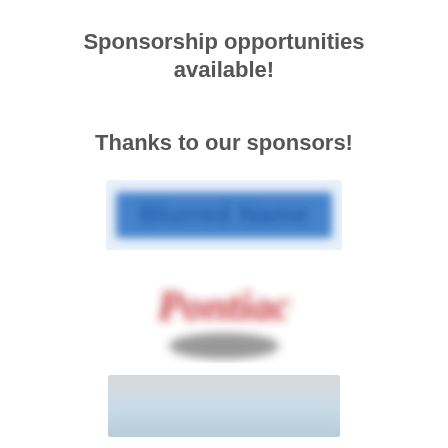Sponsorship opportunities available!
Thanks to our sponsors!
[Figure (logo): Sponsor logo 1 - blurred blue text logo]
[Figure (logo): Sponsor logo 2 - blurred red cursive text logo with dark base]
[Figure (logo): Sponsor logo 3 - blurred light grey/blue rectangular logo]